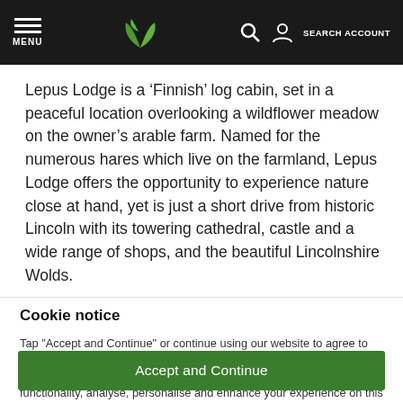MENU | [logo] | SEARCH ACCOUNT
Lepus Lodge is a ‘Finnish’ log cabin, set in a peaceful location overlooking a wildflower meadow on the owner’s arable farm. Named for the numerous hares which live on the farmland, Lepus Lodge offers the opportunity to experience nature close at hand, yet is just a short drive from historic Lincoln with its towering cathedral, castle and a wide range of shops, and the beautiful Lincolnshire Wolds.
Cookie notice
Tap “Accept and Continue” or continue using our website to agree to the use of cookies and data processing technologies. Cookies are used by us and our trusted partners to provide necessary website functionality, analyse, personalise and enhance your experience on this website as well as to deliver tailored holiday-related ads on other websites.
Accept and Continue